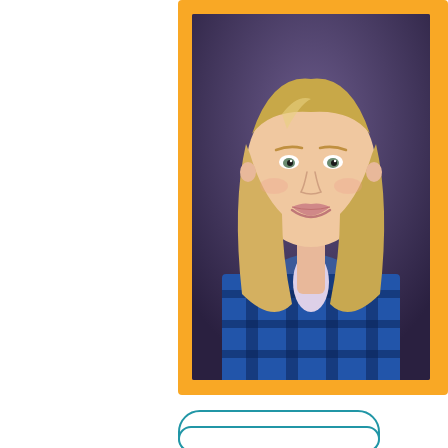[Figure (photo): Headshot of a smiling woman with shoulder-length blonde hair wearing a blue and black plaid flannel shirt, set against a blurred dark background. The photo is framed with an orange/yellow border.]
Google Calendar